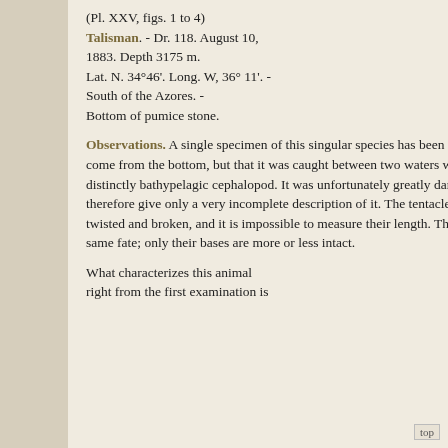(Pl. XXV, figs. 1 to 4)
Talisman. - Dr. 118. August 10, 1883. Depth 3175 m.
Lat. N. 34°46'. Long. W, 36° 11'. - South of the Azores. -
Bottom of pumice stone.
Observations. A single specimen of this singular species has been caught; it is probable that it does not come from the bottom, but that it was caught between two waters when the trawl-net was raised, as it is a distinctly bathypelagic cephalopod. It was unfortunately greatly damaged by its stay in the net, and we can therefore give only a very incomplete description of it. The tentacles have, among other things, been twisted and broken, and it is impossible to measure their length. The ends of the arms have undergone the same fate; only their bases are more or less intact.
What characterizes this animal right from the first examination is